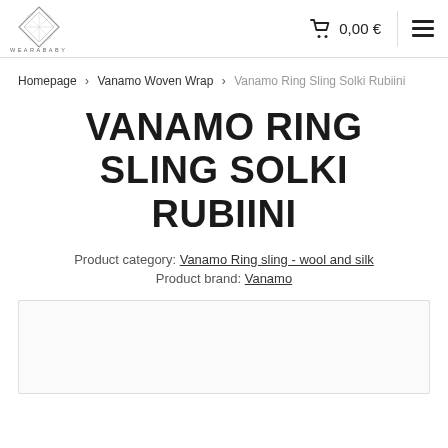WEARABABY | cart 0,00 €
Homepage > Vanamo Woven Wrap > Vanamo Ring Sling Solki Rubiini
VANAMO RING SLING SOLKI RUBIINI
Product category: Vanamo Ring sling - wool and silk
Product brand: Vanamo
[Figure (photo): Product image placeholder area with light background]